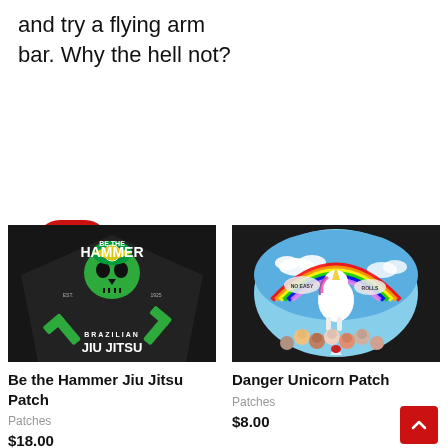and try a flying arm bar. Why the hell not?
Add to cart
[Figure (photo): Be the Hammer Brazilian Jiu Jitsu patch on dark fabric — skull with crossbones hammers, Brazilian flag, text: BE THE HAMMER, EST. 1925, BRAZILIAN JIU JITSU]
Be the Hammer Jiu Jitsu Patch
Patches
$18.00
[Figure (photo): Danger Unicorn Patch on dark fabric — unicorn with rainbow, skulls, NO EASY ROLLS text, oval patch with colorful sky background]
Danger Unicorn Patch
Patches
$8.00